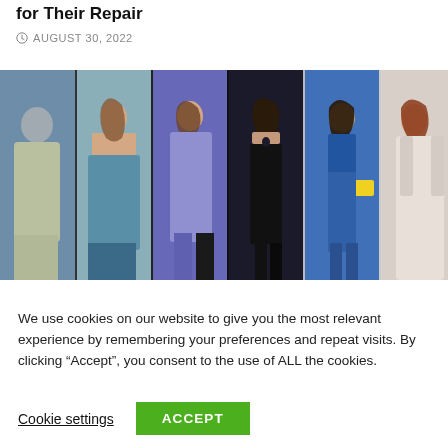for Their Repair
AUGUST 30, 2022
[Figure (photo): A collage of six fashion models on a runway, wearing various outfits in blue, purple, black, and white tones.]
We use cookies on our website to give you the most relevant experience by remembering your preferences and repeat visits. By clicking “Accept”, you consent to the use of ALL the cookies.
Cookie settings
ACCEPT